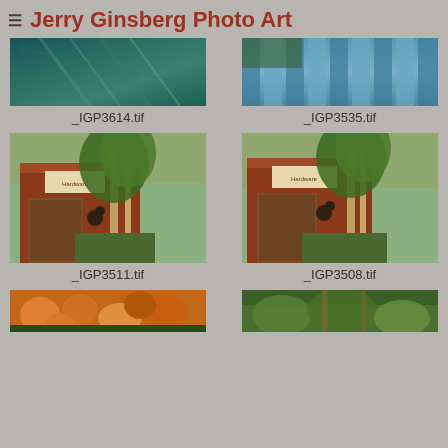Jerry Ginsberg Photo Art
[Figure (photo): Close-up abstract photo of teal/blue-green feather or plant material, labeled _IGP3614.tif]
_IGP3614.tif
[Figure (photo): Photo of blue corrugated metal siding or fence with trees, labeled _IGP3535.tif]
_IGP3535.tif
[Figure (photo): Photo of a rustic red building storefront with trees and garden, labeled _IGP3511.tif]
_IGP3511.tif
[Figure (photo): Photo of same rustic red building storefront with trees and garden, slightly different angle, labeled _IGP3508.tif]
_IGP3508.tif
[Figure (photo): Partial view of orange flowers photo at bottom left]
[Figure (photo): Partial view of green garden/plant photo at bottom right]